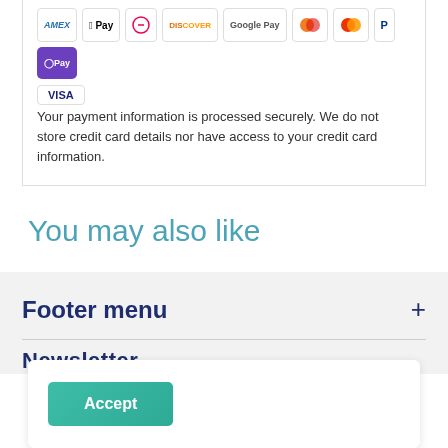[Figure (other): Payment method icons: AMEX, Apple Pay, Diners, Discover, Google Pay, Maestro, Mastercard, PayPal, OPay, VISA]
Your payment information is processed securely. We do not store credit card details nor have access to your credit card information.
You may also like
Footer menu
Newsletter
Accept